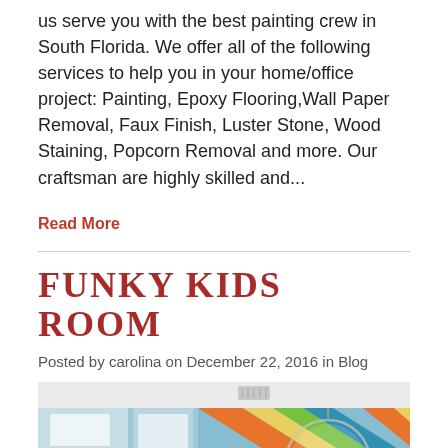us serve you with the best painting crew in South Florida. We offer all of the following services to help you in your home/office project: Painting, Epoxy Flooring,Wall Paper Removal, Faux Finish, Luster Stone, Wood Staining, Popcorn Removal and more. Our craftsman are highly skilled and...
Read More
FUNKY KIDS ROOM
Posted by carolina on December 22, 2016 in Blog
[Figure (photo): A colorful kids room with light blue walls featuring a bold chevron/zigzag pattern in orange, yellow, green, and teal on the right wall. White built-in shelving units are visible on the left side. A transparent bubble chair hangs from the ceiling. Colorful pillows are visible in the foreground.]